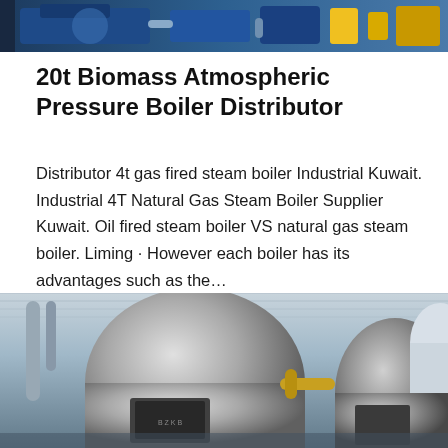[Figure (photo): Industrial boiler equipment photograph showing blue machinery with yellow accents]
20t Biomass Atmospheric Pressure Boiler Distributor
Distributor 4t gas fired steam boiler Industrial Kuwait. Industrial 4T Natural Gas Steam Boiler Supplier Kuwait. Oil fired steam boiler VS natural gas steam boiler. Liming · However each boiler has its advantages such as the…
[Figure (photo): Industrial boiler room with multiple large boilers, piping including yellow/gold pipes, and corrugated metal ceiling]